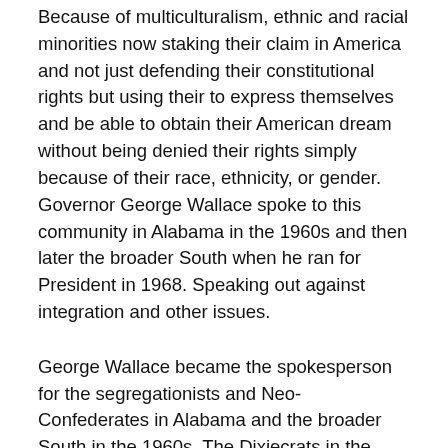Because of multiculturalism, ethnic and racial minorities now staking their claim in America and not just defending their constitutional rights but using their to express themselves and be able to obtain their American dream without being denied their rights simply because of their race, ethnicity, or gender. Governor George Wallace spoke to this community in Alabama in the 1960s and then later the broader South when he ran for President in 1968. Speaking out against integration and other issues.
George Wallace became the spokesperson for the segregationists and Neo-Confederates in Alabama and the broader South in the 1960s. The Dixiecrats in the Democratic Party that basically ran that party in Congress and the broader Democratic Party in the 1930s, 1940s, 1950s, and 1960s. Wallace became the Strom Thurmond of the 1960s and became the candidate for blue-collar